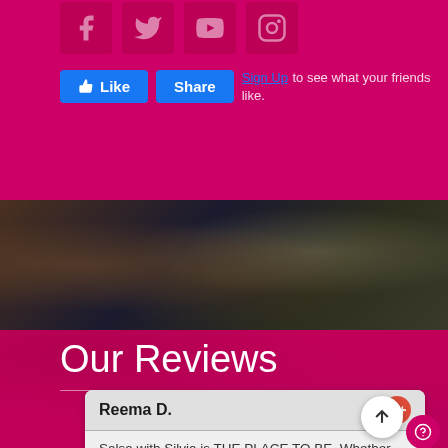[Figure (screenshot): Social media icons (Facebook, Twitter, YouTube, Instagram) on pink/magenta background]
[Figure (screenshot): Facebook Like and Share buttons with Sign Up link on pink background]
[Figure (photo): Dark photo showing dance clothing/costumes]
Our Reviews
Reema D.
Salsa with Silvia is THE PLACE TO BE. Whether you're looking to improve your dancing, rent their beautiful studio for your private event, or bring your